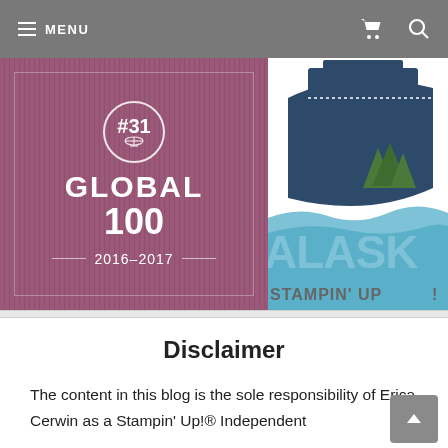MENU
[Figure (logo): Purple card with #31 globe icon, text GLOBAL 100, 2016-2017]
[Figure (logo): Alaska cruise Stampin' Up partial logo with ship and trees]
Disclaimer
The content in this blog is the sole responsibility of Erica Cerwin as a Stampin' Up!® Independent